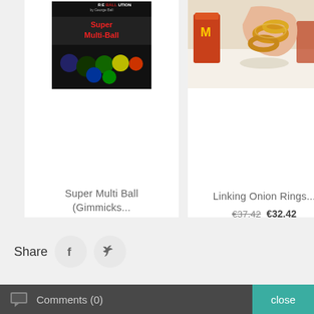[Figure (photo): Book cover for 'Reballution Super Multi-Ball' showing colorful balls on black background]
Super Multi Ball (Gimmicks...
€75.00 €71.50
[Figure (photo): Photo of a hand holding golden linked onion rings in front of a McDonald's cup]
Linking Onion Rings...
€37.42 €32.42
Share
Comments (0)
close